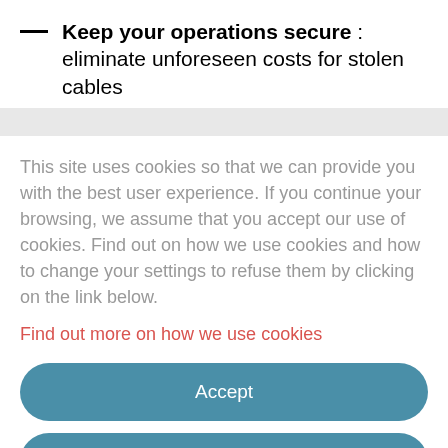Keep your operations secure : eliminate unforeseen costs for stolen cables
This site uses cookies so that we can provide you with the best user experience. If you continue your browsing, we assume that you accept our use of cookies. Find out on how we use cookies and how to change your settings to refuse them by clicking on the link below. Find out more on how we use cookies
Accept
Deny all